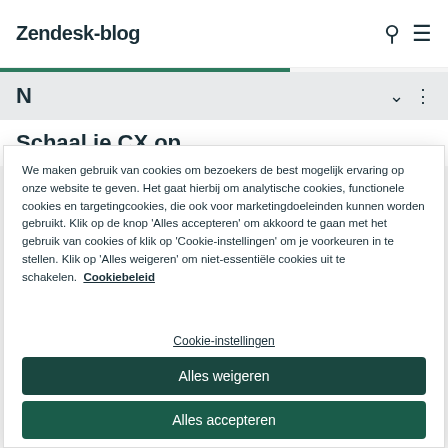Zendesk-blog
Schaal je CX op
We maken gebruik van cookies om bezoekers de best mogelijk ervaring op onze website te geven. Het gaat hierbij om analytische cookies, functionele cookies en targetingcookies, die ook voor marketingdoeleinden kunnen worden gebruikt. Klik op de knop 'Alles accepteren' om akkoord te gaan met het gebruik van cookies of klik op 'Cookie-instellingen' om je voorkeuren in te stellen. Klik op 'Alles weigeren' om niet-essentiële cookies uit te schakelen. Cookiebeleid
Cookie-instellingen
Alles weigeren
Alles accepteren